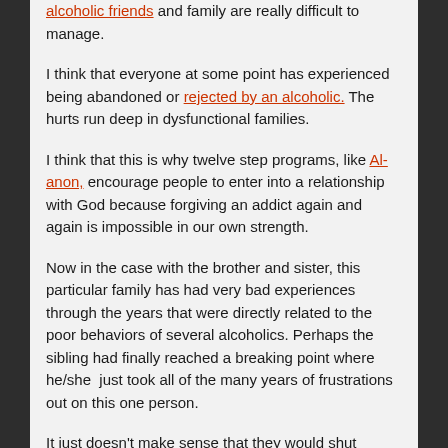alcoholic friends and family are really difficult to manage.
I think that everyone at some point has experienced being abandoned or rejected by an alcoholic. The hurts run deep in dysfunctional families.
I think that this is why twelve step programs, like Al-anon, encourage people to enter into a relationship with God because forgiving an addict again and again is impossible in our own strength.
Now in the case with the brother and sister, this particular family has had very bad experiences through the years that were directly related to the poor behaviors of several alcoholics. Perhaps the sibling had finally reached a breaking point where he/she just took all of the many years of frustrations out on this one person.
It just doesn't make sense that they would shut